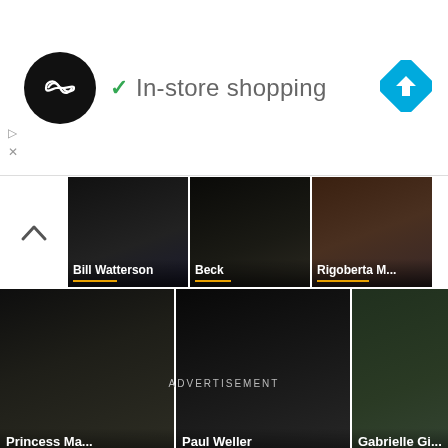[Figure (screenshot): Advertisement banner with circular logo (double infinity symbol), green checkmark, 'In-store shopping' text, and blue map/navigation diamond icon]
[Figure (screenshot): Grid of 6 celebrity thumbnail cards: Bill Watterson, Beck, Rigoberta M..., Princess Ma..., Paul Weller, Gabrielle Gi...]
ADVERTISEMENT